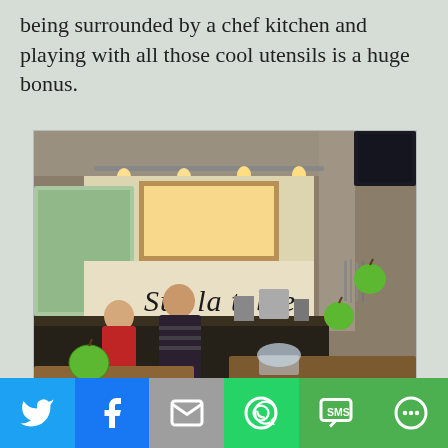being surrounded by a chef kitchen and playing with all those cool utensils is a huge bonus.
[Figure (photo): Interior of Sur La Table cooking class kitchen, showing wooden prep tables with green apples, two people at a counter, yellow wall with 'Sur la table' written in cursive script, kitchen equipment, track lighting, and a concrete ceiling.]
[Figure (infographic): Social media share bar with six buttons: Twitter (blue), Facebook (blue), Email (grey), WhatsApp (green), SMS (green), More/Share (green)]